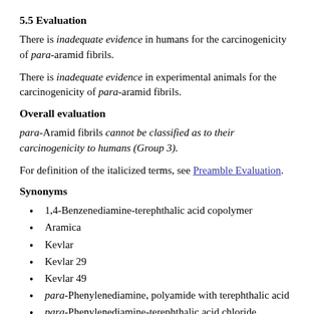5.5 Evaluation
There is inadequate evidence in humans for the carcinogenicity of para-aramid fibrils.
There is inadequate evidence in experimental animals for the carcinogenicity of para-aramid fibrils.
Overall evaluation
para-Aramid fibrils cannot be classified as to their carcinogenicity to humans (Group 3).
For definition of the italicized terms, see Preamble Evaluation.
Synonyms
1,4-Benzenediamine-terephthalic acid copolymer
Aramica
Kevlar
Kevlar 29
Kevlar 49
para-Phenylenediamine, polyamide with terephthalic acid
para-Phenylenediamine-terephthalic acid chloride copolymer